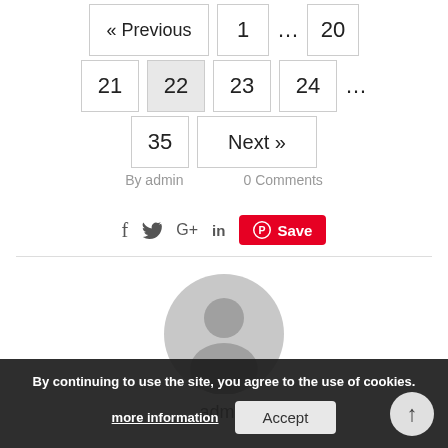« Previous  1  …  20  21  22  23  24  …  35  Next »
By admin   0 Comments
[Figure (infographic): Social share icons: f (Facebook), Twitter bird, G+, in (LinkedIn), and a red Pinterest Save button]
[Figure (photo): Gray default avatar/profile icon circle]
admin
By continuing to use the site, you agree to the use of cookies.
more information   Accept